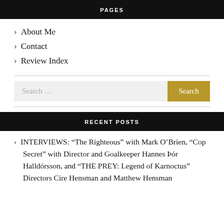PAGES
About Me
Contact
Review Index
Search …
RECENT POSTS
INTERVIEWS: “The Righteous” with Mark O’Brien, “Cop Secret” with Director and Goalkeeper Hannes Þór Halldórsson, and “THE PREY: Legend of Karnoctus” Directors Cire Hensman and Matthew Hensman